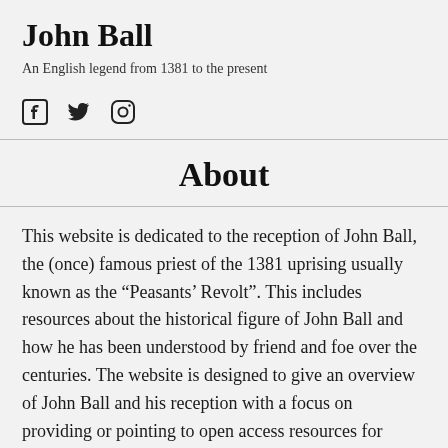John Ball
An English legend from 1381 to the present
[Figure (other): Social media icons: Facebook, Twitter, Instagram]
About
This website is dedicated to the reception of John Ball, the (once) famous priest of the 1381 uprising usually known as the “Peasants’ Revolt”. This includes resources about the historical figure of John Ball and how he has been understood by friend and foe over the centuries. The website is designed to give an overview of John Ball and his reception with a focus on providing or pointing to open access resources for further study rather